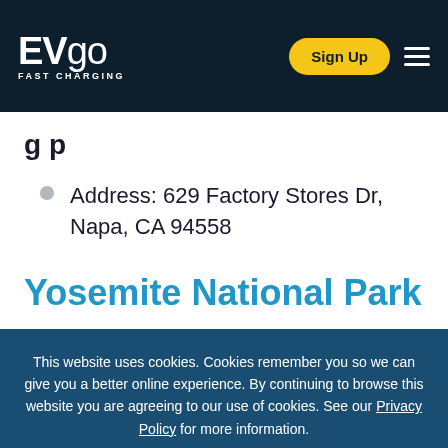EVgo FAST CHARGING | Sign Up
g p
Address: 629 Factory Stores Dr, Napa, CA 94558
Yosemite National Park
This website uses cookies. Cookies remember you so we can give you a better online experience. By continuing to browse this website you are agreeing to our use of cookies. See our Privacy Policy for more information.
Continue